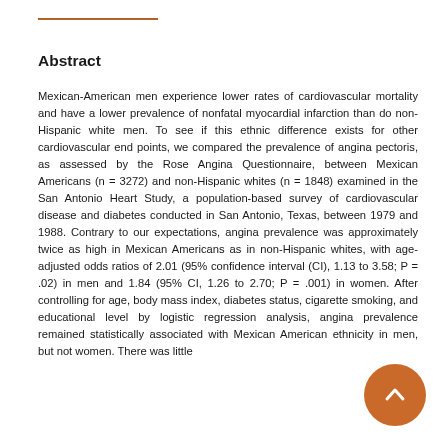Abstract
Mexican-American men experience lower rates of cardiovascular mortality and have a lower prevalence of nonfatal myocardial infarction than do non-Hispanic white men. To see if this ethnic difference exists for other cardiovascular end points, we compared the prevalence of angina pectoris, as assessed by the Rose Angina Questionnaire, between Mexican Americans (n = 3272) and non-Hispanic whites (n = 1848) examined in the San Antonio Heart Study, a population-based survey of cardiovascular disease and diabetes conducted in San Antonio, Texas, between 1979 and 1988. Contrary to our expectations, angina prevalence was approximately twice as high in Mexican Americans as in non-Hispanic whites, with age-adjusted odds ratios of 2.01 (95% confidence interval (CI), 1.13 to 3.58; P = .02) in men and 1.84 (95% CI, 1.26 to 2.70; P = .001) in women. After controlling for age, body mass index, diabetes status, cigarette smoking, and educational level by logistic regression analysis, angina prevalence remained statistically associated with Mexican American ethnicity in men, but not women. There was little